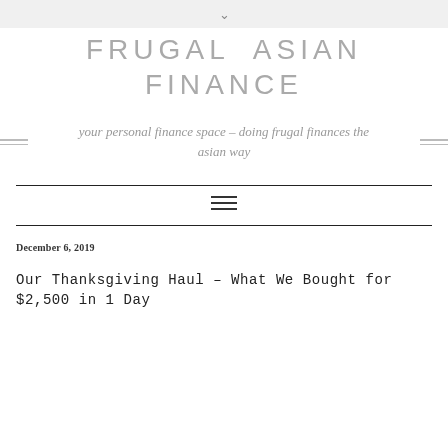∨
FRUGAL ASIAN FINANCE
your personal finance space – doing frugal finances the asian way
December 6, 2019
Our Thanksgiving Haul – What We Bought for $2,500 in 1 Day